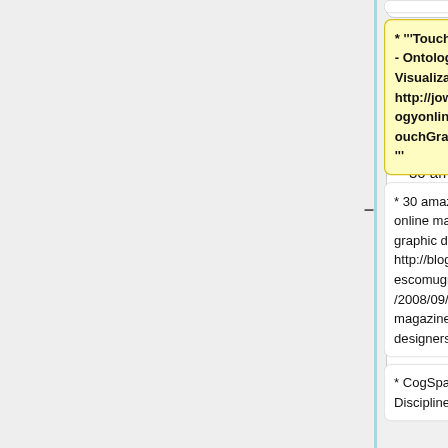* '''TouchGraph - Ontology Visualization: http://jowl.ontologyonline.org/TouchGraph.html'''
* 30 amazing (free) online magazines for graphic designers: http://blogof.francescomugnai.com/2008/09/best-online-magazines-graphic-designers/
* 30 amazing (free) online magazines for graphic designers: http://blogof.francescomugnai.com/2008/09/best-online-magazines-graphic-designers/
* CogSpace - Disciplines...
* CogSpace - Disciplines...